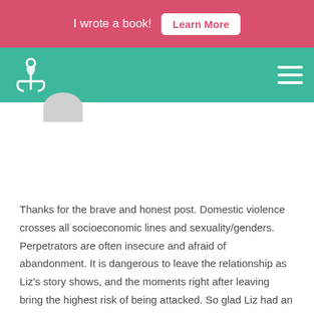I wrote a book!  Learn More
[Figure (logo): Navigation bar with anchor/heart logo on teal background and hamburger menu icon]
Thanks for the brave and honest post. Domestic violence crosses all socioeconomic lines and sexuality/genders. Perpetrators are often insecure and afraid of abandonment. It is dangerous to leave the relationship as Liz's story shows, and the moments right after leaving bring the highest risk of being attacked. So glad Liz had an escape plan and supportive friends. Can you imagine living on an island where the location of a domestic violence shelter would be impossible to keep secret? Here's a tip I heard from a woman who left her abuser: *always* keep spare keys. They come in handy if your car is stolen too!